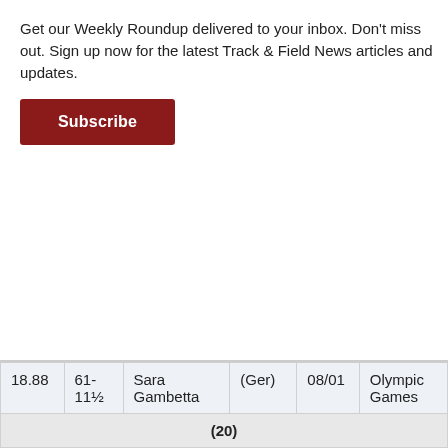Get our Weekly Roundup delivered to your inbox. Don't miss out. Sign up now for the latest Track & Field News articles and updates.
| Mark | Imperial | Athlete | Nat | Date | Competition |
| --- | --- | --- | --- | --- | --- |
| 18.88 | 61-11½ | Sara Gambetta | (Ger) | 08/01 | Olympic Games |
|  |  | (20) |  |  |  |
| 18.80 | 61-8¼ | Yang Gao | (Chn) | 07/30 | Olympic Games |
|  |  | María Belén Toimil | (Spa) | 06/29 | Castellón |
| 18.77 | 61-7 | Jessica Schilder | (Neth) | 06/27 | Neth Ch |
| 18.75 | 61- | Portious | (Tri) | 07/30 | Olympic Games |